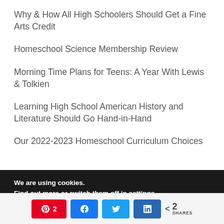Why & How All High Schoolers Should Get a Fine Arts Credit
Homeschool Science Membership Review
Morning Time Plans for Teens: A Year With Lewis & Tolkien
Learning High School American History and Literature Should Go Hand-in-Hand
Our 2022-2023 Homeschool Curriculum Choices
We are using cookies. Find out more or switch them off in settings.
< 2 SHARES [Pinterest: 2] [Facebook] [Twitter] [LinkedIn]